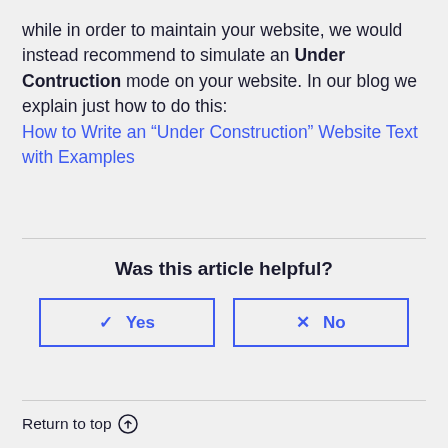while in order to maintain your website, we would instead recommend to simulate an Under Contruction mode on your website. In our blog we explain just how to do this:
How to Write an “Under Construction” Website Text with Examples
Was this article helpful?
✓ Yes
× No
Return to top ↑